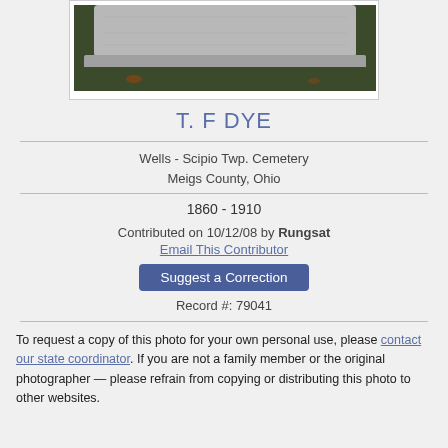[Figure (photo): Photo of a gravestone partially visible, set in grass]
T. F DYE
Wells - Scipio Twp. Cemetery
Meigs County, Ohio
1860 - 1910
Contributed on 10/12/08 by Rungsat
Email This Contributor
Suggest a Correction
Record #: 79041
To request a copy of this photo for your own personal use, please contact our state coordinator. If you are not a family member or the original photographer — please refrain from copying or distributing this photo to other websites.